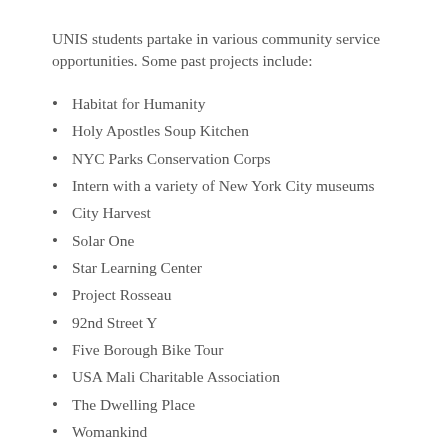UNIS students partake in various community service opportunities. Some past projects include:
Habitat for Humanity
Holy Apostles Soup Kitchen
NYC Parks Conservation Corps
Intern with a variety of New York City museums
City Harvest
Solar One
Star Learning Center
Project Rosseau
92nd Street Y
Five Borough Bike Tour
USA Mali Charitable Association
The Dwelling Place
Womankind
Wild Bird Fund
Hour Children